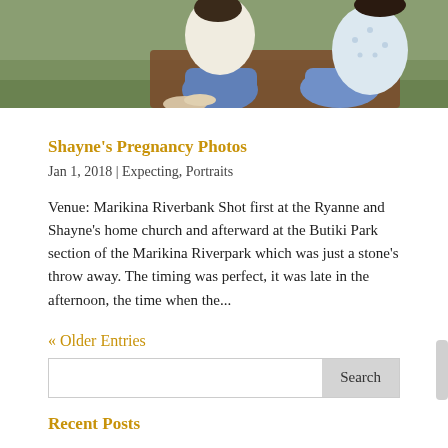[Figure (photo): Top portion of a pregnancy photo shoot showing two people sitting on a blanket on grass, partially cropped at the top of the page.]
Shayne's Pregnancy Photos
Jan 1, 2018 | Expecting, Portraits
Venue: Marikina Riverbank Shot first at the Ryanne and Shayne's home church and afterward at the Butiki Park section of the Marikina Riverpark which was just a stone's throw away. The timing was perfect, it was late in the afternoon, the time when the...
« Older Entries
Search
Recent Posts